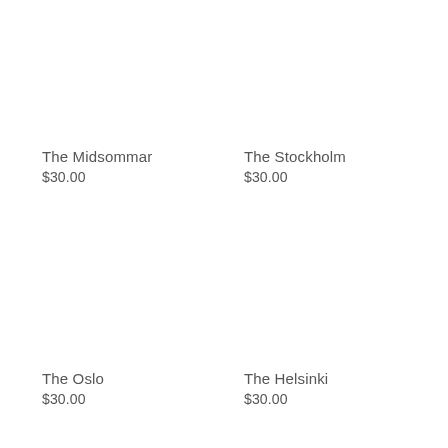The Midsommar
$30.00
The Stockholm
$30.00
The Oslo
$30.00
The Helsinki
$30.00